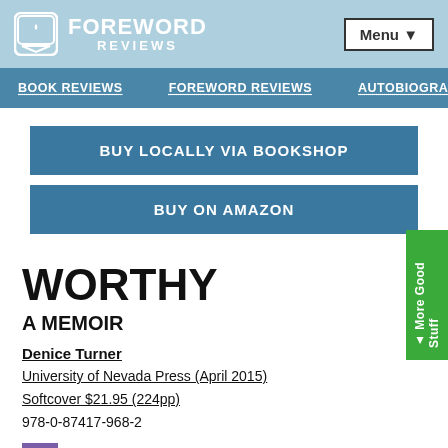FOREWORD REVIEWS | Menu
BOOK REVIEWS | FOREWORD REVIEWS | AUTOBIOGRAPH
BUY LOCALLY VIA BOOKSHOP
BUY ON AMAZON
WORTHY
A MEMOIR
Denice Turner
University of Nevada Press (April 2015)
Softcover $21.95 (224pp)
978-0-87417-968-2
2015 INDIES Winner